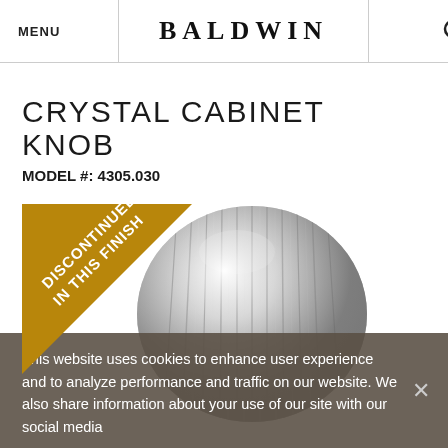MENU | BALDWIN | (search icon)
CRYSTAL CABINET KNOB
MODEL #: 4305.030
[Figure (photo): A crystal cabinet knob with ribbed/faceted spherical glass shape, shown on white background. A gold/bronze diagonal banner overlaid in the top-left corner reads 'DISCONTINUED IN THIS FINISH'.]
This website uses cookies to enhance user experience and to analyze performance and traffic on our website. We also share information about your use of our site with our social media